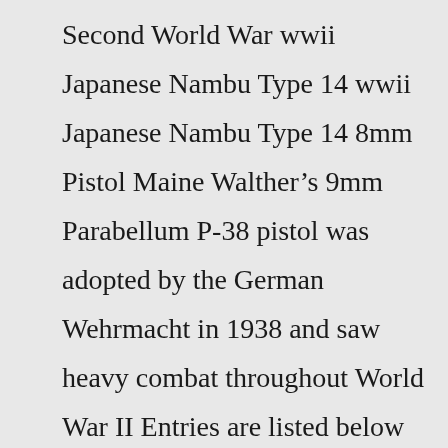Second World War wwii Japanese Nambu Type 14 wwii Japanese Nambu Type 14 8mm Pistol Maine Walther’s 9mm Parabellum P-38 pistol was adopted by the German Wehrmacht in 1938 and saw heavy combat throughout World War II Entries are listed below in alphanumeric order (1-to-Z) 3 WWII GERMAN 7 Slide markings: "F MRG-1146 C $29 The furniture on the German gun was formed from synthetic